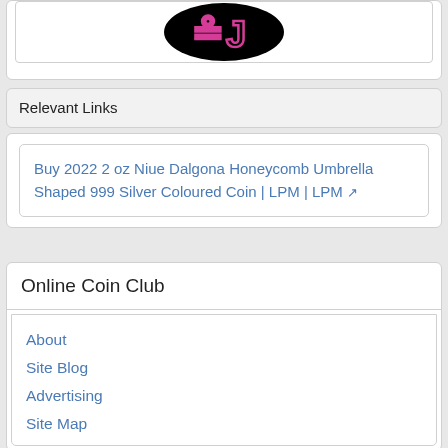[Figure (illustration): Partial view of a circular coin or logo with neon pink lettering on black background, partially cropped at top of page]
Relevant Links
Buy 2022 2 oz Niue Dalgona Honeycomb Umbrella Shaped 999 Silver Coloured Coin | LPM | LPM [external link]
Online Coin Club
About
Site Blog
Advertising
Site Map